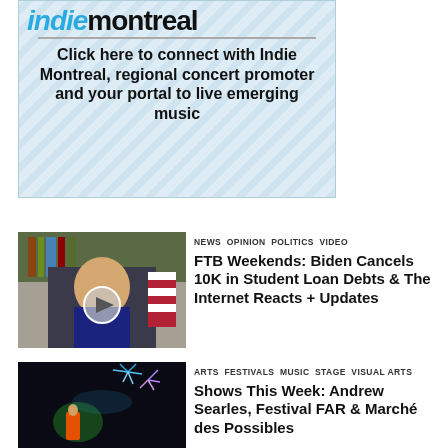[Figure (other): Indie Montreal banner advertisement with diagonal stripe background, logo at top, and text below]
Click here to connect with Indie Montreal, regional concert promoter and your portal to live emerging music
[Figure (photo): Photo of Biden removing mask, with play button overlay icon]
NEWS  OPINION  POLITICS  VIDEO
FTB Weekends: Biden Cancels 10K in Student Loan Debts & The Internet Reacts + Updates
[Figure (photo): Night festival photo with fireworks and performers on stage]
ARTS  FESTIVALS  MUSIC  STAGE  VISUAL ARTS
Shows This Week: Andrew Searles, Festival FAR & Marché des Possibles